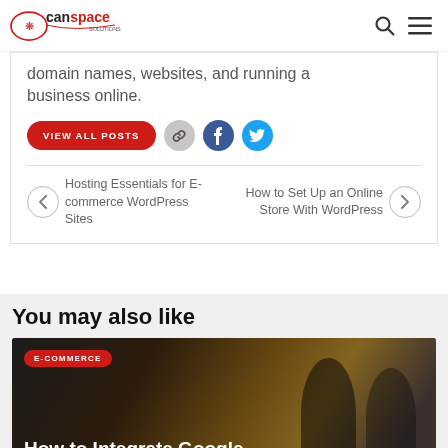CanSpace Solutions
domain names, websites, and running a business online.
VIEW ALL POSTS
Hosting Essentials for E-commerce WordPress Sites
How to Set Up an Online Store With WordPress
You may also like
E-COMMERCE
How to Integrate Google